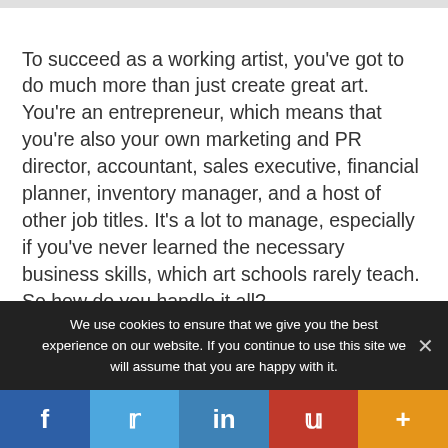To succeed as a working artist, you've got to do much more than just create great art. You're an entrepreneur, which means that you're also your own marketing and PR director, accountant, sales executive, financial planner, inventory manager, and a host of other job titles. It's a lot to manage, especially if you've never learned the necessary business skills, which art schools rarely teach. So how do you handle it all?
We use cookies to ensure that we give you the best experience on our website. If you continue to use this site we will assume that you are happy with it.